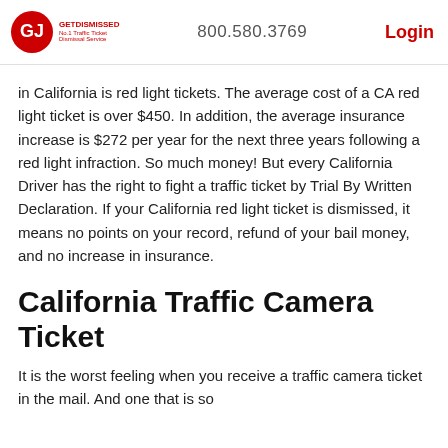GETDISMISSED No.1 Traffic Ticket Dismissal Service | 800.580.3769 | Login
in California is red light tickets. The average cost of a CA red light ticket is over $450. In addition, the average insurance increase is $272 per year for the next three years following a red light infraction. So much money! But every California Driver has the right to fight a traffic ticket by Trial By Written Declaration. If your California red light ticket is dismissed, it means no points on your record, refund of your bail money, and no increase in insurance.
California Traffic Camera Ticket
It is the worst feeling when you receive a traffic camera ticket in the mail. And one that is so unexpected. The average cost for California traffic